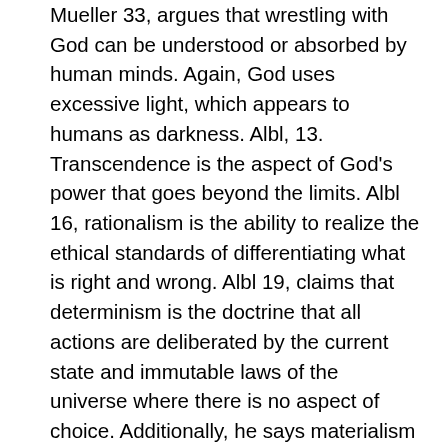Mueller 33, argues that wrestling with God can be understood or absorbed by human minds. Again, God uses excessive light, which appears to humans as darkness. Albl, 13. Transcendence is the aspect of God's power that goes beyond the limits. Albl 16, rationalism is the ability to realize the ethical standards of differentiating what is right and wrong. Albl 19, claims that determinism is the doctrine that all actions are deliberated by the current state and immutable laws of the universe where there is no aspect of choice. Additionally, he says materialism is the constant urge for material possession by the ruling class who fabricate religious laws in their favor of earthly possession. According to Albl, 23 the Word's view about tradition is that God is all mighty, and controls everything. The worldview of Materialism as God is the source of everything. Albl 33, explains that paradigm is the ability which God enters into dialogue and relationship with creatures. Albl 23, explains Theophany is the manifestation of God to his creation by caring and being kind to man. Mueller 25, YHWH means Yahweh (I AM WHOM I AM). Albl argues moral transcendence comes from ethics and right reasoning. Albl 10, Cushingism, a possible account that God...